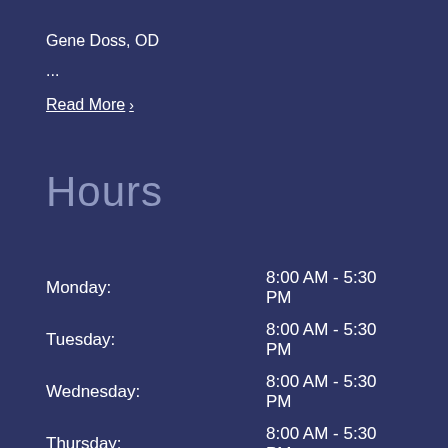Gene Doss, OD
...
Read More ›
Hours
| Day | Hours |
| --- | --- |
| Monday: | 8:00 AM - 5:30 PM |
| Tuesday: | 8:00 AM - 5:30 PM |
| Wednesday: | 8:00 AM - 5:30 PM |
| Thursday: | 8:00 AM - 5:30 PM |
| Friday: | 8:00 AM - 5:00 PM |
| Saturday: | Closed |
| Sunday: | Closed |